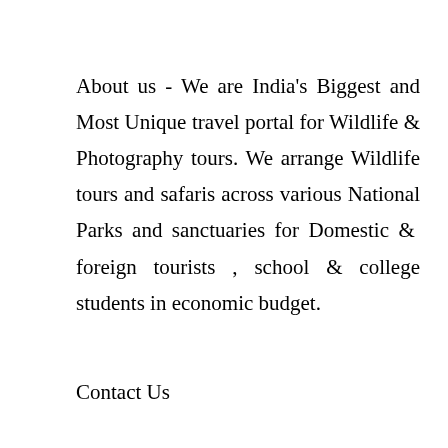About us - We are India's Biggest and Most Unique travel portal for Wildlife & Photography tours. We arrange Wildlife tours and safaris across various National Parks and sanctuaries for Domestic &  foreign tourists , school & college students in economic budget.
Contact Us